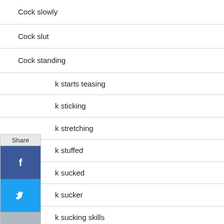Cock slowly
Cock slut
Cock standing
k starts teasing
k sticking
k stretching
k stuffed
k sucked
k sucker
k sucking skills
Cock throb
[Figure (infographic): Share widget with social media buttons: Facebook, Twitter, Email, Reddit, Google+, Tumblr, and a generic share button]